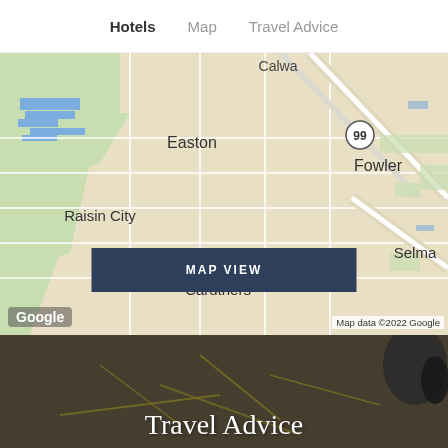Hotels   Map   Travel Advice
[Figure (map): Google Map showing Fresno County area including Easton, Fowler, Raisin City, Caruthers, Selma, Calwa, with route 99 visible. A dark blue MAP VIEW button overlaid in the center. Map data ©2022 Google shown at bottom right. Google logo at bottom left.]
[Figure (photo): Photo of a paper map with a compass/binoculars partially visible at top right, serving as background for the Travel Advice section.]
Travel Advice